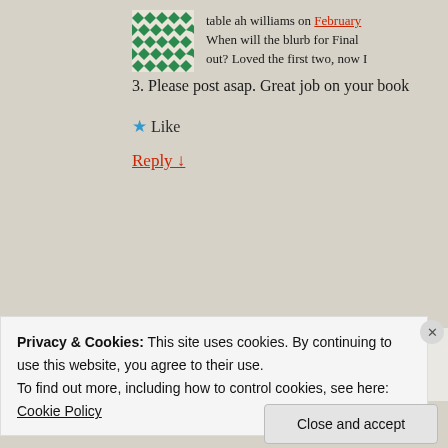table ah williams on February
When will the blurb for Finally out? Loved the first two, now I 3. Please post asap. Great job on your book
★ Like
Reply ↓
harperbentleywrites on
🙂Thank you! I'm glad
Privacy & Cookies: This site uses cookies. By continuing to use this website, you agree to their use.
To find out more, including how to control cookies, see here:
Cookie Policy
Close and accept